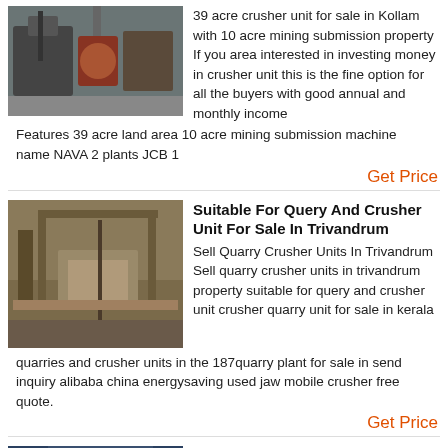[Figure (photo): Industrial crusher machinery in a factory setting]
39 acre crusher unit for sale in Kollam with 10 acre mining submission property If you area interested in investing money in crusher unit this is the fine option for all the buyers with good annual and monthly income Features 39 acre land area 10 acre mining submission machine name NAVA 2 plants JCB 1
Get Price
[Figure (photo): Large outdoor quarry and crusher plant with scaffolding]
Suitable For Query And Crusher Unit For Sale In Trivandrum
Sell Quarry Crusher Units In Trivandrum Sell quarry crusher units in trivandrum property suitable for query and crusher unit crusher quarry unit for sale in kerala quarries and crusher units in the 187quarry plant for sale in send inquiry alibaba china energysaving used jaw mobile crusher free quote.
Get Price
[Figure (photo): Yellow crusher machine with large flywheel in a workshop]
Crusher Unit Ottapalam
crusher unit ottapalam Crusher Units In Plakkad Crusher Unit For Sales In KeralaImpact kerala state crusher unit and lad quarry for salehome mining machine gt crusher unit for sales in kerala the xsm is